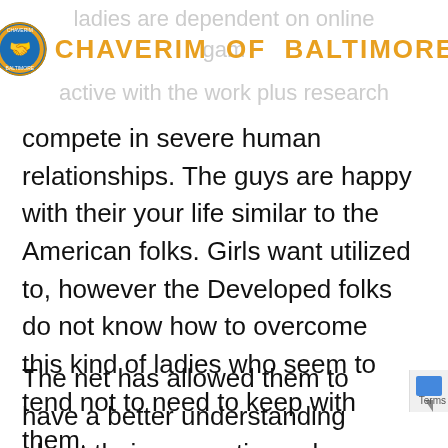ladies are dependent on online games active with the work plus research
[Figure (logo): Chaverim of Baltimore circular logo with handshake icon]
CHAVERIM OF BALTIMORE
compete in severe human relationships. The guys are happy with their your life similar to the American folks. Girls want utilized to, however the Developed folks do not know how to overcome this kind of ladies who seem to tend not to need to keep with them.
The net has allowed them to have a better understanding about their connections along with the globe